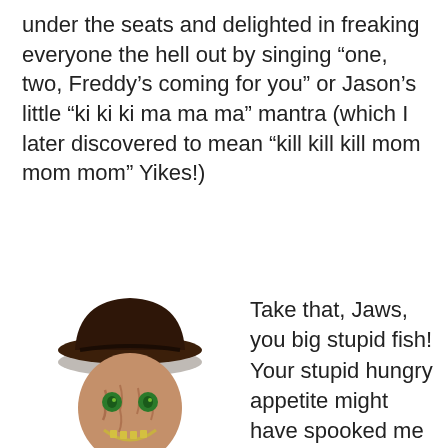under the seats and delighted in freaking everyone the hell out by singing “one, two, Freddy’s coming for you” or Jason’s little “ki ki ki ma ma ma” mantra (which I later discovered to mean “kill kill kill mom mom mom” Yikes!)
[Figure (illustration): Cartoon chibi-style illustration of Freddy Krueger from A Nightmare on Elm Street, wearing his iconic brown fedora hat, red and dark striped sweater, and holding his claw glove, with a scarred face and green eyes.]
Take that, Jaws, you big stupid fish! Your stupid hungry appetite might have spooked me once, but now I was down with